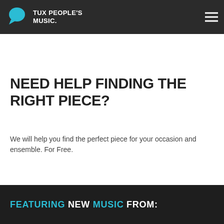TUX PEOPLE'S MUSIC
JOIN THE MAILING LIST!
NEED HELP FINDING THE RIGHT PIECE?
We will help you find the perfect piece for your occasion and ensemble. For Free.
FIND MY PIECE
FEATURING NEW MUSIC FROM: